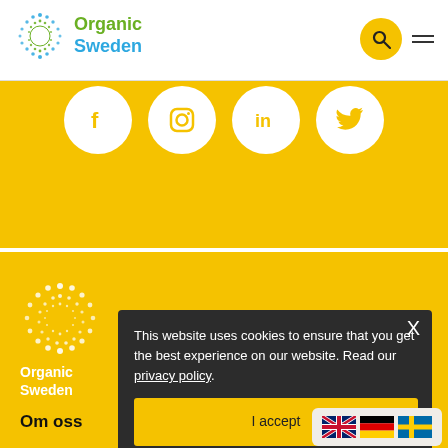Organic Sweden
[Figure (infographic): Social media icons row on yellow background: Facebook, Instagram, LinkedIn, Twitter — white circles with yellow icons]
[Figure (logo): Organic Sweden logo in white on yellow background — circular dot pattern sun]
This website uses cookies to ensure that you get the best experience on our website. Read our privacy policy.
I accept
Om oss
[Figure (infographic): Language selector flags: UK (English), Germany (German), Sweden (Swedish)]